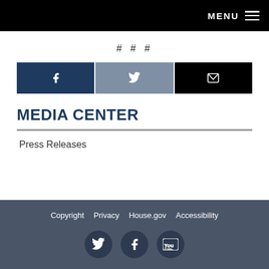MENU ☰
# # #
[Figure (infographic): Three social sharing buttons: Facebook (dark navy), Twitter (gray-blue), Email (black)]
MEDIA CENTER
Press Releases
Copyright  Privacy  House.gov  Accessibility  [Twitter icon] [Facebook icon] [YouTube icon]